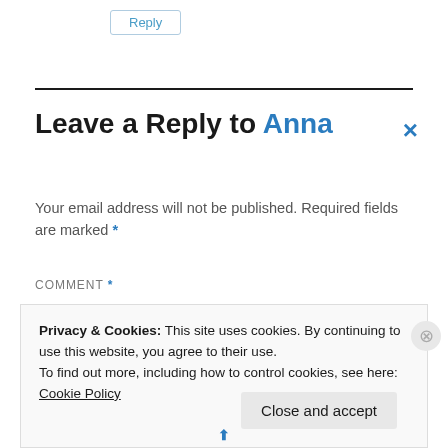Reply
Leave a Reply to Anna ×
Your email address will not be published. Required fields are marked *
COMMENT *
Privacy & Cookies: This site uses cookies. By continuing to use this website, you agree to their use.
To find out more, including how to control cookies, see here:
Cookie Policy
Close and accept